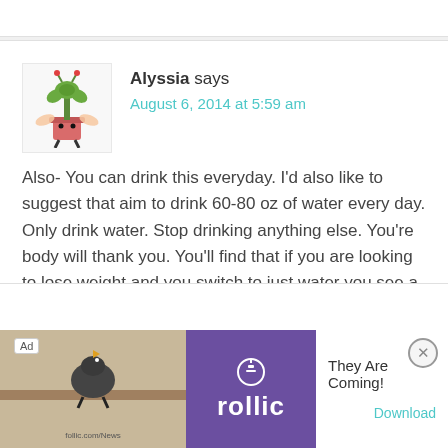[Figure (illustration): Avatar icon of a cartoon plant character in a pink pot with legs and wings]
Alyssia says
August 6, 2014 at 5:59 am
Also- You can drink this everyday. I'd also like to suggest that aim to drink 60-80 oz of water every day. Only drink water. Stop drinking anything else. You're body will thank you. You'll find that if you are looking to lose weight and you switch to just water you see a difference…
Reply
[Figure (screenshot): Advertisement banner for Follic app with text 'They Are Coming!' and a Download link]